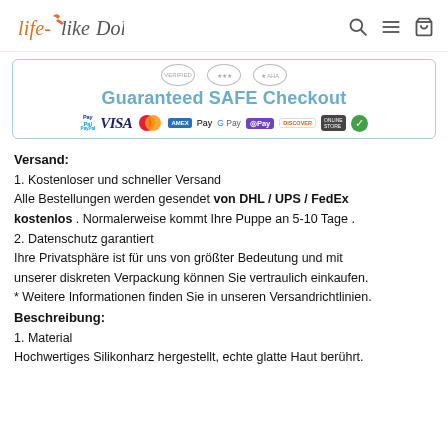Life-like Doll
[Figure (infographic): Guaranteed SAFE Checkout banner with payment method logos: PayPal, VISA, Mastercard, AMEX, Apple Pay, Google Pay, OPay, Discover, and a verified checkmark badge]
Versand:
1. Kostenloser und schneller Versand
Alle Bestellungen werden gesendet von DHL / UPS / FedEx kostenlos . Normalerweise kommt Ihre Puppe an 5-10 Tage .
2. Datenschutz garantiert
Ihre Privatsphäre ist für uns von größter Bedeutung und mit unserer diskreten Verpackung können Sie vertraulich einkaufen.
* Weitere Informationen finden Sie in unseren Versandrichtlinien.
Beschreibung:
1. Material
Hochwertiges Silikonharz hergestellt, echte glatte Haut berührt.